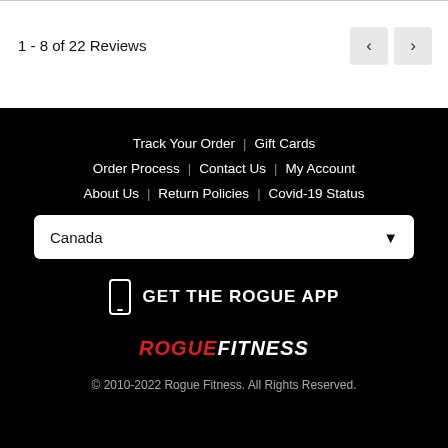1 - 8 of 22 Reviews
Track Your Order  |  Gift Cards
Order Process  |  Contact Us  |  My Account
About Us  |  Return Policies  |  Covid-19 Status
Canada
GET THE ROGUE APP
[Figure (logo): ROGUE FITNESS logo in red and white italic bold text]
© 2010-2022 Rogue Fitness. All Rights Reserved.